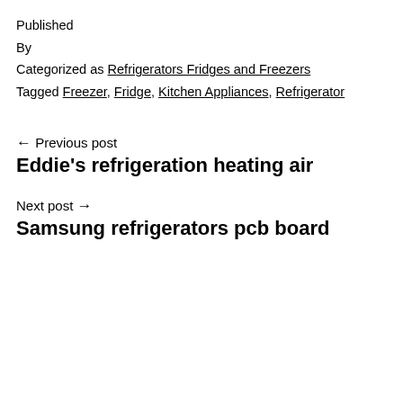Published
By
Categorized as Refrigerators Fridges and Freezers
Tagged Freezer, Fridge, Kitchen Appliances, Refrigerator
← Previous post
Eddie's refrigeration heating air
Next post →
Samsung refrigerators pcb board